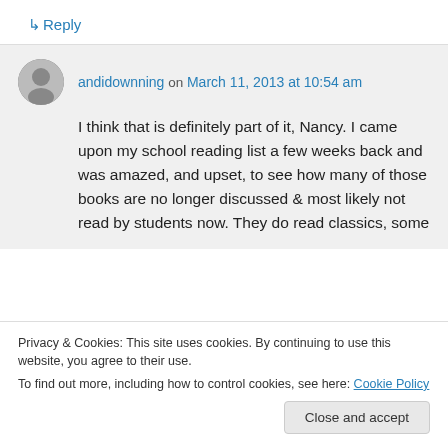↳ Reply
andidownning on March 11, 2013 at 10:54 am
I think that is definitely part of it, Nancy. I came upon my school reading list a few weeks back and was amazed, and upset, to see how many of those books are no longer discussed & most likely not read by students now. They do read classics, some
Privacy & Cookies: This site uses cookies. By continuing to use this website, you agree to their use.
To find out more, including how to control cookies, see here: Cookie Policy
Close and accept
↳ Reply